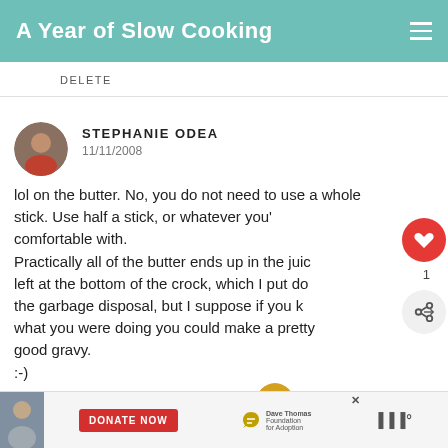A Year of Slow Cooking
DELETE
STEPHANIE ODEA
11/11/2008
lol on the butter. No, you do not need to use a whole stick. Use half a stick, or whatever you're comfortable with.
Practically all of the butter ends up in the juice left at the bottom of the crock, which I put down the garbage disposal, but I suppose if you knew what you were doing you could make a pretty good gravy.
:-)

xox